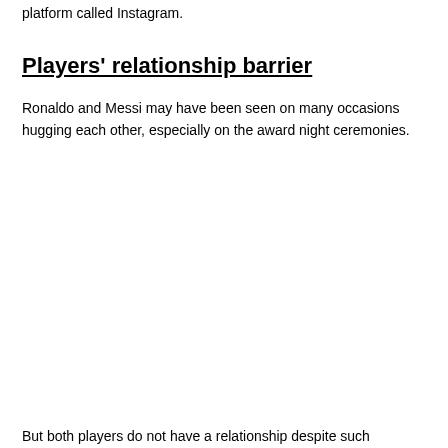platform called Instagram.
Players' relationship barrier
Ronaldo and Messi may have been seen on many occasions hugging each other, especially on the award night ceremonies.
But both players do not have a relationship despite such